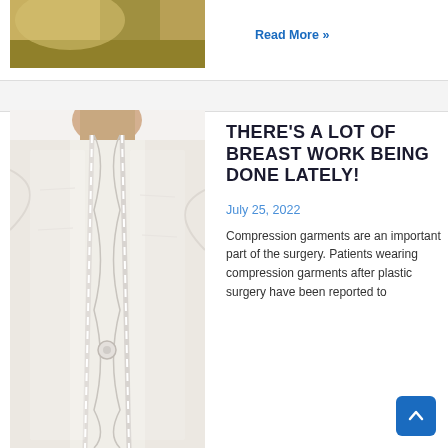[Figure (photo): Partial view of a person outdoors, cropped image at top of page]
Read More »
[Figure (photo): Close-up of a white compression garment with zipper, worn on a person's chest/torso area after plastic surgery]
THERE'S A LOT OF BREAST WORK BEING DONE LATELY!
July 25, 2022
Compression garments are an important part of the surgery. Patients wearing compression garments after plastic surgery have been reported to